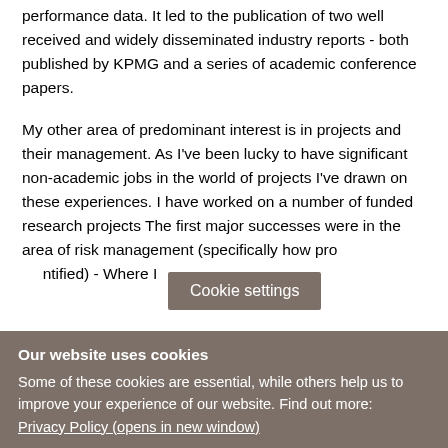performance data. It led to the publication of two well received and widely disseminated industry reports - both published by KPMG and a series of academic conference papers.
My other area of predominant interest is in projects and their management. As I've been lucky to have significant non-academic jobs in the world of projects I've drawn on these experiences. I have worked on a number of funded research projects The first major successes were in the area of risk management (specifically how pro[jects are identified) - Where I
Cookie settings
Our website uses cookies
Some of these cookies are essential, while others help us to improve your experience of our website. Find out more:
Privacy Policy (opens in new window)